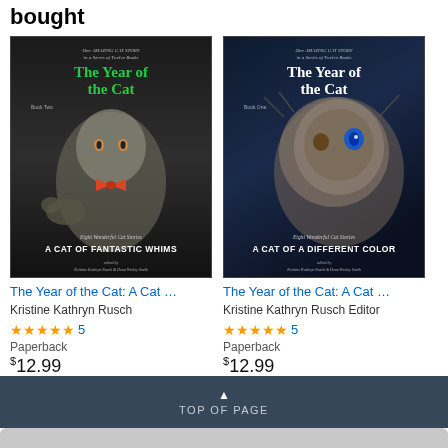bought
[Figure (illustration): Book cover: The Year of the Cat: A Cat of Fantastic Whims, dark cover with a cat wearing a bow tie and a rat, edited by Kristine Kathryn Rusch & Dean Wesley Smith]
[Figure (illustration): Book cover: The Year of the Cat: A Cat of a Different Color (Book One), dark cover with a fluffy cat with blue eye, edited by Kristine Kathryn Rusch & Dean Wesley Smith]
The Year of the Cat: A Cat ...
Kristine Kathryn Rusch
★★★★★ 5
Paperback
$12.99
The Year of the Cat: A Cat ...
Kristine Kathryn Rusch Editor
★★★★★ 5
Paperback
$12.99
▲ TOP OF PAGE